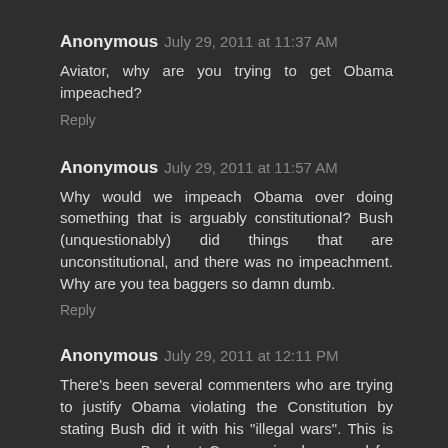Anonymous July 29, 2011 at 11:37 AM
Aviator, why are you trying to get Obama impeached?
Reply
Anonymous July 29, 2011 at 11:57 AM
Why would we impeach Obama over doing something that is arguably constitutional? Bush (unquestionably) did things that are unconstitutional, and there was no impeachment. Why are you tea baggers so damn dumb.
Reply
Anonymous July 29, 2011 at 12:11 PM
There's been several commenters who are trying to justify Obama violating the Constitution by stating Bush did it with his "illegal wars". This is non-sense. Bush got Congressional approval for both Afghanistan and Iraq, something Obama has failed to do with his illegal wars.